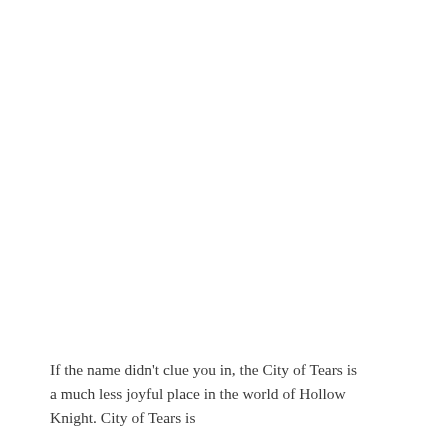If the name didn't clue you in, the City of Tears is a much less joyful place in the world of Hollow Knight. City of Tears is